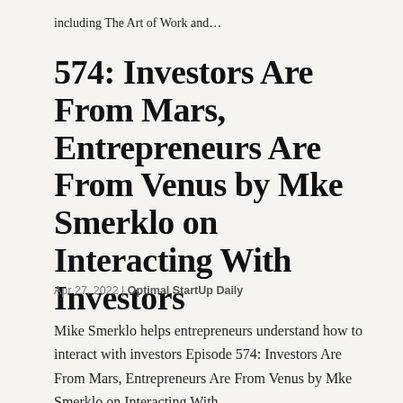including The Art of Work and…
574: Investors Are From Mars, Entrepreneurs Are From Venus by Mke Smerklo on Interacting With Investors
Apr 27, 2022 | Optimal StartUp Daily
Mike Smerklo helps entrepreneurs understand how to interact with investors Episode 574: Investors Are From Mars, Entrepreneurs Are From Venus by Mke Smerklo on Interacting With